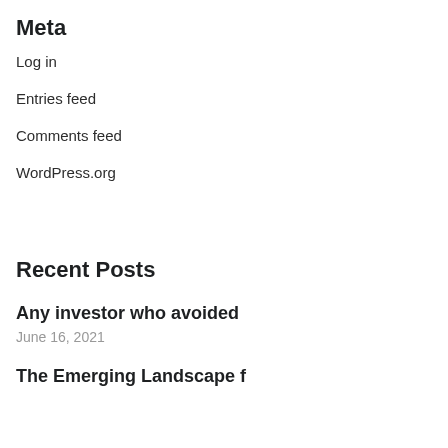Meta
Log in
Entries feed
Comments feed
WordPress.org
Recent Posts
Any investor who avoided
June 16, 2021
The Emerging Landscape f